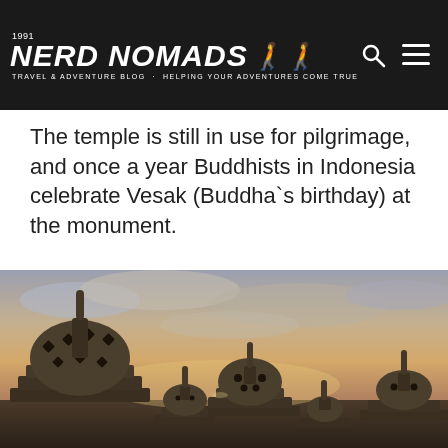NERD NOMADS - TRAVEL & ADVENTURE BLOG - HELPING YOUR ADVENTURES COME TRUE
The temple is still in use for pilgrimage, and once a year Buddhists in Indonesia celebrate Vesak (Buddha`s birthday) at the monument.
[Figure (photo): Photo of Borobudur temple stupas at sunrise/dusk, showing multiple stone bell-shaped stupas with latticed diamond cutouts against a cloudy sky with warm light on the horizon.]